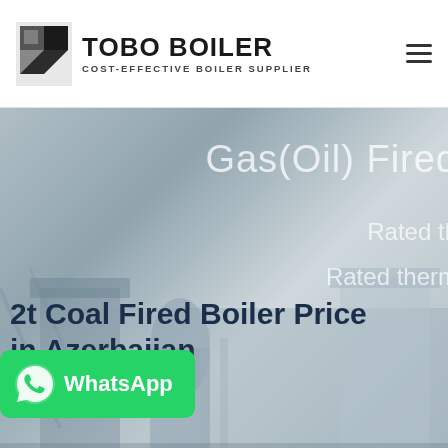[Figure (logo): TOBO BOILER logo with icon and text 'COST-EFFECTIVE BOILER SUPPLIER']
[Figure (photo): Industrial boiler machinery photo used as hero background, showing equipment in a factory setting with overlay text 'Gas(Oil) Fired', 'Rated th...', 'Rated therm...']
2t Coal Fired Boiler Price in Azerbaijan
[Figure (other): WhatsApp contact button with green background, phone icon and 'WhatsApp' text]